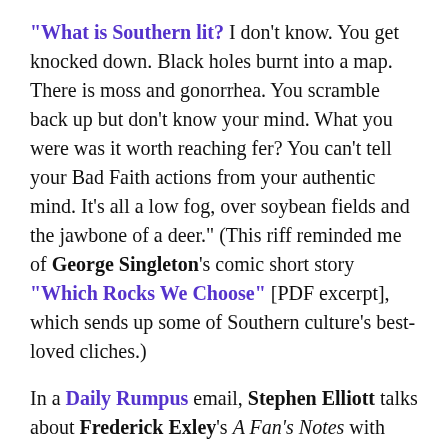"What is Southern lit? I don't know. You get knocked down. Black holes burnt into a map. There is moss and gonorrhea. You scramble back up but don't know your mind. What you were was it worth reaching fer? You can't tell your Bad Faith actions from your authentic mind. It's all a low fog, over soybean fields and the jawbone of a deer." (This riff reminded me of George Singleton's comic short story "Which Rocks We Choose" [PDF excerpt], which sends up some of Southern culture's best-loved cliches.)
In a Daily Rumpus email, Stephen Elliott talks about Frederick Exley's A Fan's Notes with Tobias Wolff: "'It was a writer's book,' Tobias said. We decided that it was better than a book that makes a big splash. Better to write a book that people are still reading 40 years later. He said Exley's other books weren't quite as good. Some of them were very good, but not quite to the level